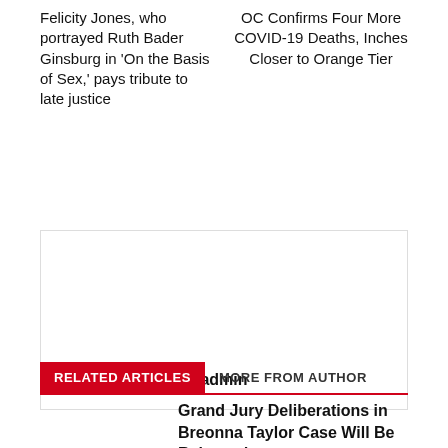Felicity Jones, who portrayed Ruth Bader Ginsburg in 'On the Basis of Sex,' pays tribute to late justice
OC Confirms Four More COVID-19 Deaths, Inches Closer to Orange Tier
[Figure (other): Author profile box with name 'admin' centered at bottom]
admin
RELATED ARTICLES   MORE FROM AUTHOR
Grand Jury Deliberations in Breonna Taylor Case Will Be Released